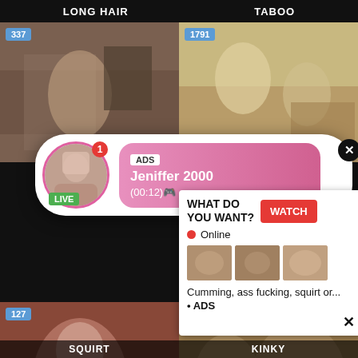LONG HAIR
TABOO
[Figure (screenshot): Video thumbnail with badge 337]
[Figure (screenshot): Video thumbnail with badge 1791]
[Figure (screenshot): Ad popup overlay: ADS Jeniffer 2000 (00:12), LIVE badge, notification dot 1]
[Figure (screenshot): Video thumbnail with badge 127]
[Figure (screenshot): Video thumbnail with badge 364]
[Figure (screenshot): Bottom right ad: WHAT DO YOU WANT? WATCH, Online, Cumming, ass fucking, squirt or... ADS]
SQUIRT
KINKY